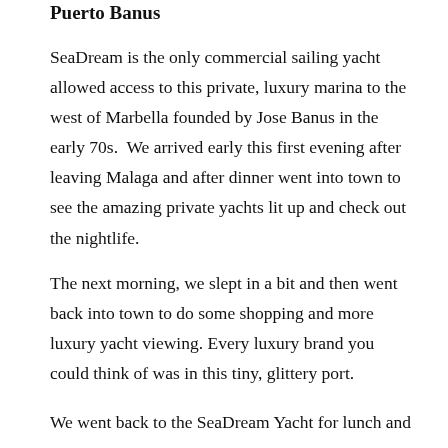Puerto Banus
SeaDream is the only commercial sailing yacht allowed access to this private, luxury marina to the west of Marbella founded by Jose Banus in the early 70s.  We arrived early this first evening after leaving Malaga and after dinner went into town to see the amazing private yachts lit up and check out the nightlife.
The next morning, we slept in a bit and then went back into town to do some shopping and more luxury yacht viewing. Every luxury brand you could think of was in this tiny, glittery port.
We went back to the SeaDream Yacht for lunch and